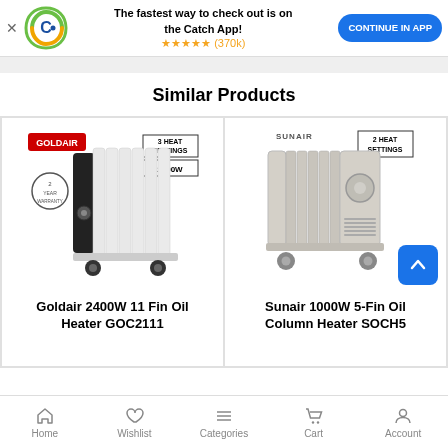The fastest way to check out is on the Catch App! ★★★★★ (370k) CONTINUE IN APP
Similar Products
[Figure (photo): Goldair 2400W 11 Fin Oil Heater GOC2111 product image with GOLDAIR red label, 3 HEAT SETTINGS and 2400W badges]
Goldair 2400W 11 Fin Oil Heater GOC2111
[Figure (photo): Sunair 1000W 5-Fin Oil Column Heater SOCH5 product image with SUNAIR label and 2 HEAT SETTINGS badge]
Sunair 1000W 5-Fin Oil Column Heater SOCH5
Home  Wishlist  Categories  Cart  Account